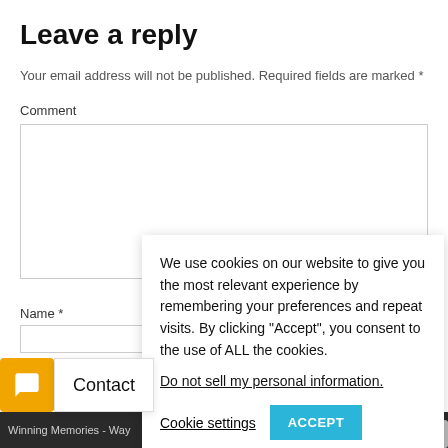Leave a reply
Your email address will not be published. Required fields are marked *
Comment
Name *
We use cookies on our website to give you the most relevant experience by remembering your preferences and repeat visits. By clicking “Accept”, you consent to the use of ALL the cookies.
Do not sell my personal information.
Cookie settings
ACCEPT
Contact
Winning Memories - Way